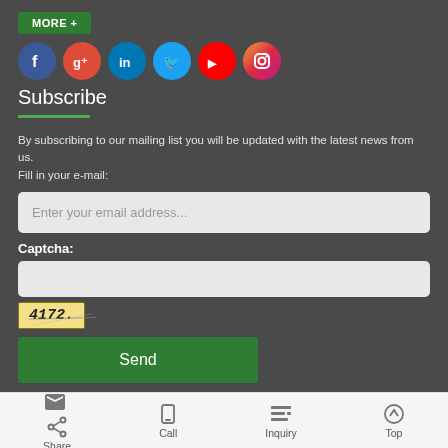[Figure (other): MORE+ green button]
[Figure (other): Social media icons row: Facebook, Google+, LinkedIn, Twitter, YouTube, Instagram]
Subscribe
By subscribing to our mailing list you will be updated with the latest news from us.
Fill in your e-mail:
[Figure (other): Email input field with placeholder: Enter your email address...]
Captcha:
[Figure (other): Captcha input field (empty) and captcha image showing 4172]
[Figure (other): Send button (green)]
[Figure (other): Country flags row at bottom of main content]
Share  Call  Inquiry  Top